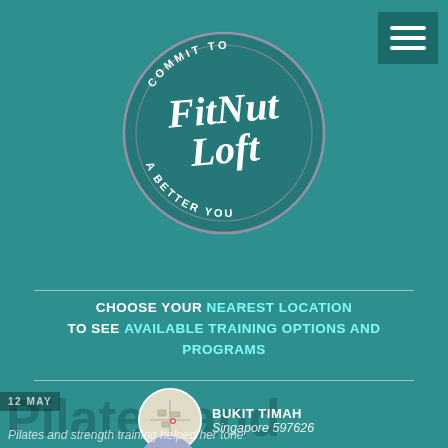[Figure (logo): FitNut Loft circular logo with text 'COMMIT TO A BETTER YOU' around the circle border and 'FitNut Loft' in script font in the center, on a teal background]
CHOOSE YOUR NEAREST LOCATION TO SEE AVAILABLE TRAINING OPTIONS AND PROGRAMS
BUKIT TIMAH
Singapore 597626
RIVER VALLEY
Singapore 238964
Pilates and strength training helped her tone her arms and keep her accountable
Pilates and strength training helped her tone